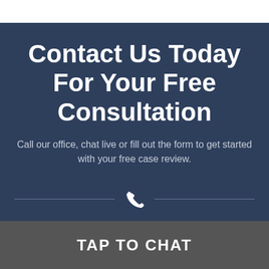Contact Us Today For Your Free Consultation
Call our office, chat live or fill out the form to get started with your free case review.
[Figure (illustration): A white phone/handset icon centered between two horizontal divider lines on a dark navy background.]
TAP TO CHAT